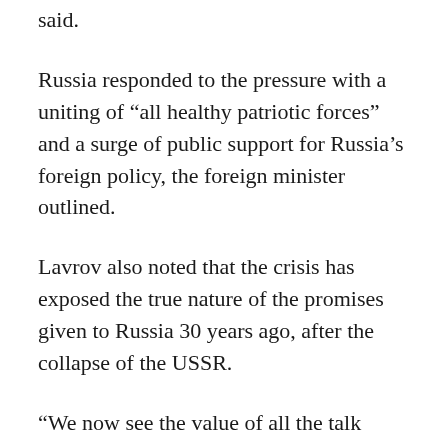said.
Russia responded to the pressure with a uniting of “all healthy patriotic forces” and a surge of public support for Russia’s foreign policy, the foreign minister outlined.
Lavrov also noted that the crisis has exposed the true nature of the promises given to Russia 30 years ago, after the collapse of the USSR.
“We now see the value of all the talk about universal values and the need to turn Europe into a common home from the Atlantic to the Pacific.” No one should have illusions about the